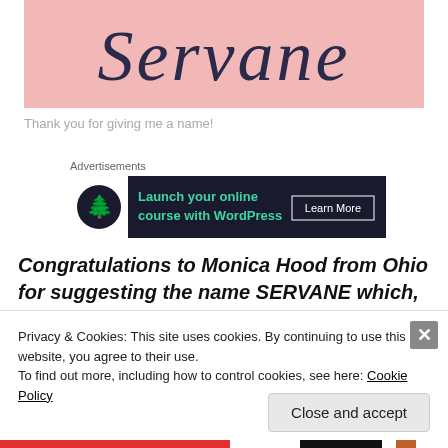[Figure (photo): Pink background with cursive handwriting spelling 'Servane' in dark blue ink]
Thank you for giving me a name!
Advertisements
[Figure (infographic): Dark advertisement banner: 'Launch your online course with WordPress' with 'Learn More' button and tree logo]
Congratulations to Monica Hood from Ohio for suggesting the name SERVANE which, she writes, means "service of
Privacy & Cookies: This site uses cookies. By continuing to use this website, you agree to their use.
To find out more, including how to control cookies, see here: Cookie Policy
Close and accept